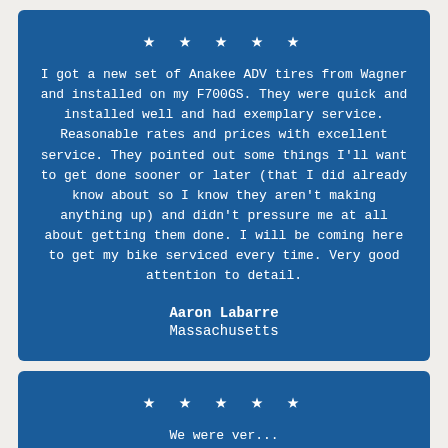★ ★ ★ ★ ★
I got a new set of Anakee ADV tires from Wagner and installed on my F700GS. They were quick and installed well and had exemplary service. Reasonable rates and prices with excellent service. They pointed out some things I'll want to get done sooner or later (that I did already know about so I know they aren't making anything up) and didn't pressure me at all about getting them done. I will be coming here to get my bike serviced every time. Very good attention to detail.
Aaron Labarre
Massachusetts
★ ★ ★ ★ ★